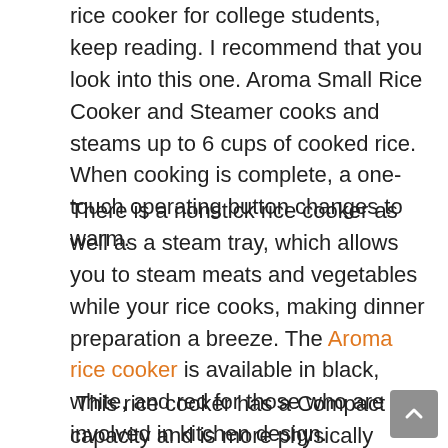rice cooker for college students, keep reading. I recommend that you look into this one. Aroma Small Rice Cooker and Steamer cooks and steams up to 6 cups of cooked rice. When cooking is complete, a one-touch operating button changes to warm.
There is a nonstick rice cooker as well as a steam tray, which allows you to steam meats and vegetables while your rice cooks, making dinner preparation a breeze. The Aroma rice cooker is available in black, white, and red for those who are involved in kitchen design.
This rice cooker has a Compact capacity and is more physically appealing than the Mini rice cooker, but it is still an excellent deal. Compact Capacity — yields 2 to 6 cups cooked rice from a